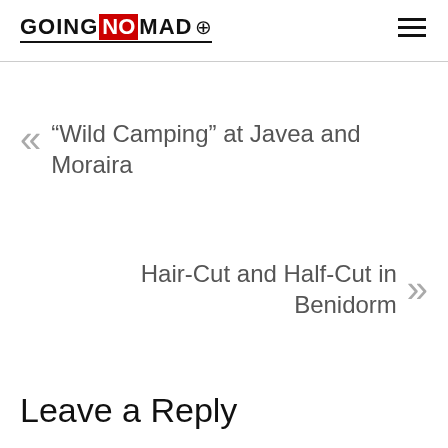GOING NOMAD [logo with compass]
« “Wild Camping” at Javea and Moraira
Hair-Cut and Half-Cut in Benidorm »
Leave a Reply